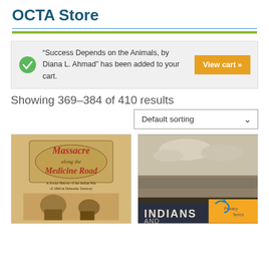OCTA Store
“Success Depends on the Animals, by Diana L. Ahmad” has been added to your cart.
Showing 369–384 of 410 results
Default sorting
[Figure (photo): Book cover: Massacre along the Medicine Road — A Social History of the Indian War of 1864 in Nebraska Territory]
[Figure (photo): Book cover: Indians and... (partial view with landscape painting on cover)]